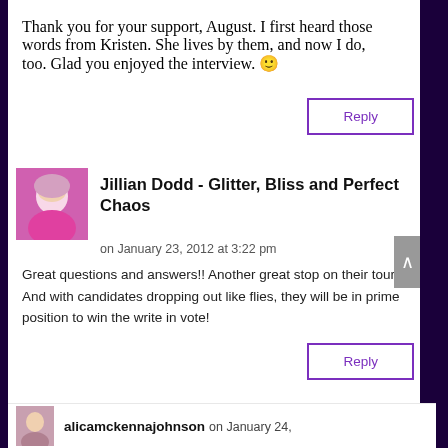Thank you for your support, August. I first heard those words from Kristen. She lives by them, and now I do, too. Glad you enjoyed the interview. 🙂
Reply
Jillian Dodd - Glitter, Bliss and Perfect Chaos
on January 23, 2012 at 3:22 pm
Great questions and answers!! Another great stop on their tour. And with candidates dropping out like flies, they will be in prime position to win the write in vote!
Reply
alicamckennajohnson on January 24,